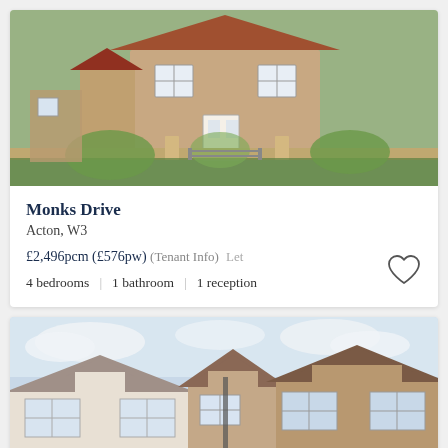[Figure (photo): Exterior photo of a brick terraced house with garden and gate at Monks Drive, Acton W3]
Monks Drive
Acton, W3
£2,496pcm (£576pw) (Tenant Info)  Let
4 bedrooms  |  1 bathroom  |  1 reception
[Figure (photo): Exterior photo of a row of terraced houses with brick and render facades]